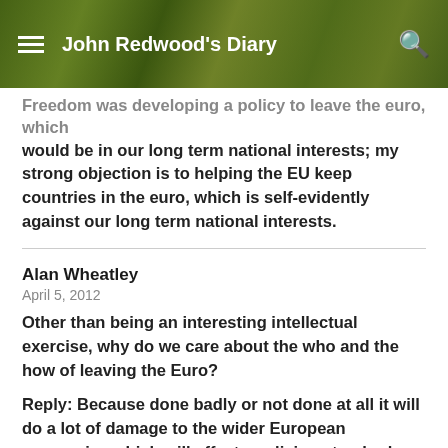John Redwood's Diary
Freedom was developing a policy to leave the euro, which would be in our long term national interests; my strong objection is to helping the EU keep countries in the euro, which is self-evidently against our long term national interests.
Alan Wheatley
April 5, 2012

Other than being an interesting intellectual exercise, why do we care about the who and the how of leaving the Euro?

Reply: Because done badly or not done at all it will do a lot of damage to the wider European economies which will affect our living standards.